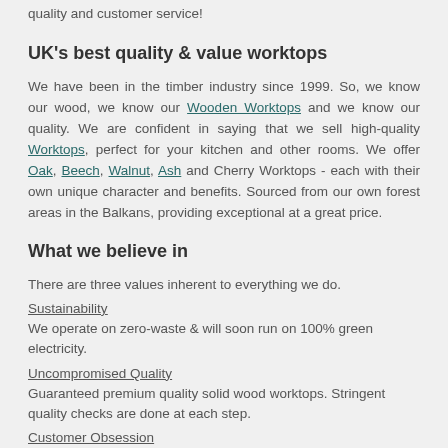quality and customer service!
UK's best quality & value worktops
We have been in the timber industry since 1999. So, we know our wood, we know our Wooden Worktops and we know our quality. We are confident in saying that we sell high-quality Worktops, perfect for your kitchen and other rooms. We offer Oak, Beech, Walnut, Ash and Cherry Worktops - each with their own unique character and benefits. Sourced from our own forest areas in the Balkans, providing exceptional at a great price.
What we believe in
There are three values inherent to everything we do.
Sustainability
We operate on zero-waste & will soon run on 100% green electricity.
Uncompromised Quality
Guaranteed premium quality solid wood worktops. Stringent quality checks are done at each step.
Customer Obsession
Your needs & requirements are at the heart of what we do.